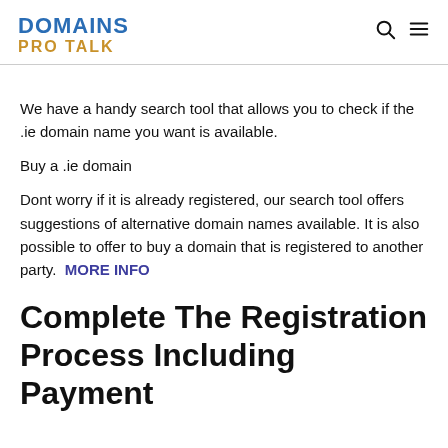DOMAINS PRO TALK
We have a handy search tool that allows you to check if the .ie domain name you want is available.
Buy a .ie domain
Dont worry if it is already registered, our search tool offers suggestions of alternative domain names available. It is also possible to offer to buy a domain that is registered to another party.  MORE INFO
Complete The Registration Process Including Payment